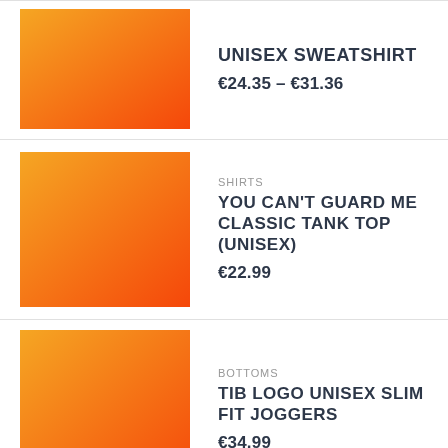[Figure (illustration): Orange-to-yellow gradient square product image for sweatshirt]
UNISEX SWEATSHIRT
€24.35 – €31.36
[Figure (illustration): Orange-to-yellow gradient square product image for tank top]
SHIRTS
YOU CAN'T GUARD ME CLASSIC TANK TOP (UNISEX)
€22.99
[Figure (illustration): Orange-to-yellow gradient square product image for joggers]
BOTTOMS
TIB LOGO UNISEX SLIM FIT JOGGERS
€34.99
[Figure (illustration): Orange-to-yellow gradient square product image for beanie]
BEANIES
THIS IS BASKETBALL CUFFED BEANIE
€18.17
[Figure (illustration): Orange-to-yellow gradient square product image for socks (partial)]
UNCATEGORIZED
THIS IS BASKETBALL SOCKS